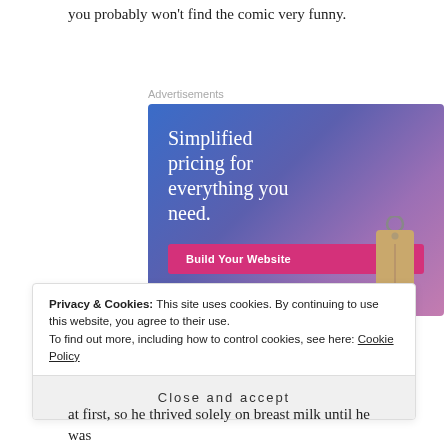you probably won't find the comic very funny.
Advertisements
[Figure (illustration): Advertisement banner with blue-to-purple gradient background. Text reads 'Simplified pricing for everything you need.' with a pink 'Build Your Website' button and a tan price tag illustration on the right.]
Privacy & Cookies: This site uses cookies. By continuing to use this website, you agree to their use.
To find out more, including how to control cookies, see here: Cookie Policy
Close and accept
at first, so he thrived solely on breast milk until he was